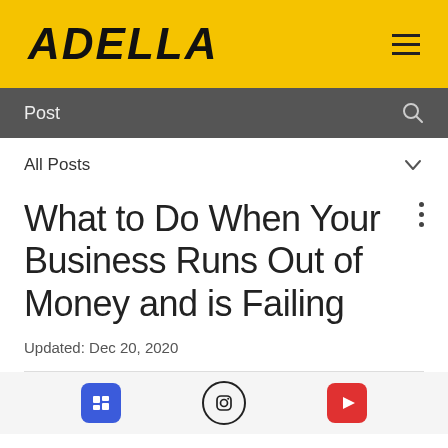ADELLA
Post
All Posts
What to Do When Your Business Runs Out of Money and is Failing
Updated: Dec 20, 2020